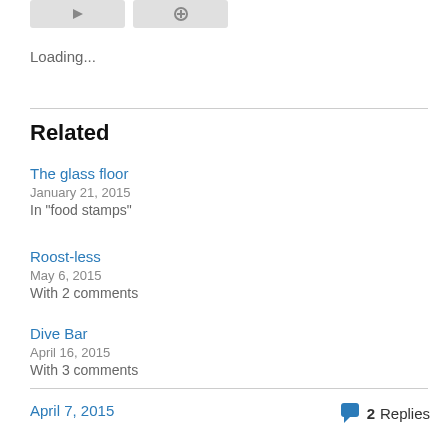Loading...
Related
The glass floor
January 21, 2015
In "food stamps"
Roost-less
May 6, 2015
With 2 comments
Dive Bar
April 16, 2015
With 3 comments
April 7, 2015
2 Replies